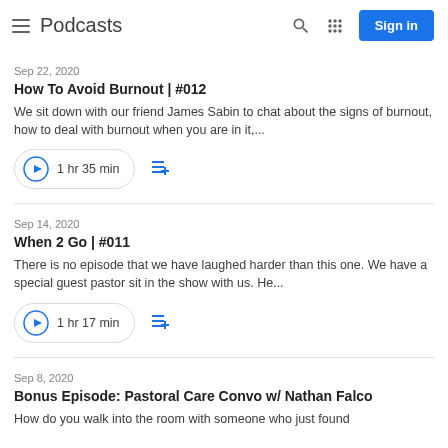Podcasts
Sep 22, 2020
How To Avoid Burnout | #012
We sit down with our friend James Sabin to chat about the signs of burnout, how to deal with burnout when you are in it,...
1 hr 35 min
Sep 14, 2020
When 2 Go | #011
There is no episode that we have laughed harder than this one. We have a special guest pastor sit in the show with us. He...
1 hr 17 min
Sep 8, 2020
Bonus Episode: Pastoral Care Convo w/ Nathan Falco
How do you walk into the room with someone who just found